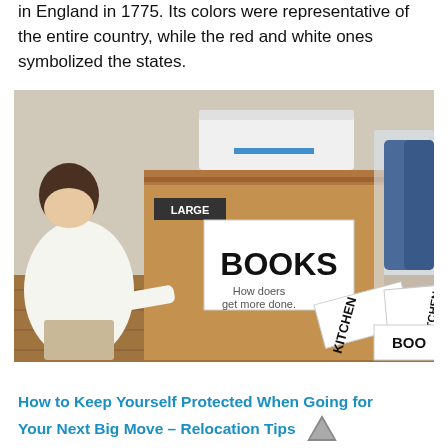in England in 1775. Its colors were representative of the entire country, while the red and white ones symbolized the states.
[Figure (photo): A person crouching on a wooden floor next to a large cardboard moving box labeled 'LARGE' and 'BOOKS', with a printer on top and plastic-wrapped furniture in the background. On the floor are paper labels reading 'KITCHEN' and 'BOO...'.]
How to Keep Yourself Protected When Going for Your Next Big Move – Relocation Tips